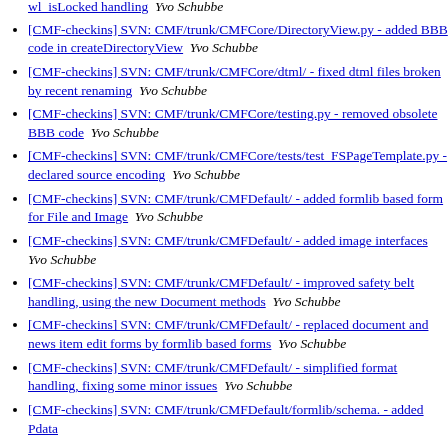wl_isLocked handling  Yvo Schubbe
[CMF-checkins] SVN: CMF/trunk/CMFCore/DirectoryView.py - added BBB code in createDirectoryView  Yvo Schubbe
[CMF-checkins] SVN: CMF/trunk/CMFCore/dtml/ - fixed dtml files broken by recent renaming  Yvo Schubbe
[CMF-checkins] SVN: CMF/trunk/CMFCore/testing.py - removed obsolete BBB code  Yvo Schubbe
[CMF-checkins] SVN: CMF/trunk/CMFCore/tests/test_FSPageTemplate.py - declared source encoding  Yvo Schubbe
[CMF-checkins] SVN: CMF/trunk/CMFDefault/ - added formlib based form for File and Image  Yvo Schubbe
[CMF-checkins] SVN: CMF/trunk/CMFDefault/ - added image interfaces  Yvo Schubbe
[CMF-checkins] SVN: CMF/trunk/CMFDefault/ - improved safety belt handling, using the new Document methods  Yvo Schubbe
[CMF-checkins] SVN: CMF/trunk/CMFDefault/ - replaced document and news item edit forms by formlib based forms  Yvo Schubbe
[CMF-checkins] SVN: CMF/trunk/CMFDefault/ - simplified format handling, fixing some minor issues  Yvo Schubbe
[CMF-checkins] SVN: CMF/trunk/CMFDefault/formlib/schema. - added Pdata